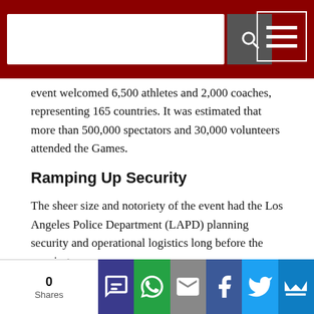[Search bar and navigation menu]
event welcomed 6,500 athletes and 2,000 coaches, representing 165 countries. It was estimated that more than 500,000 spectators and 30,000 volunteers attended the Games.
Ramping Up Security
The sheer size and notoriety of the event had the Los Angeles Police Department (LAPD) planning security and operational logistics long before the opening ceremony.
“LA2015 was about inclusion,” said Commander Dennis Kato, LAPD Planning Group, Special Olympics
0 Shares — social share buttons: SMS, WhatsApp, Email, Facebook, Twitter, Crown